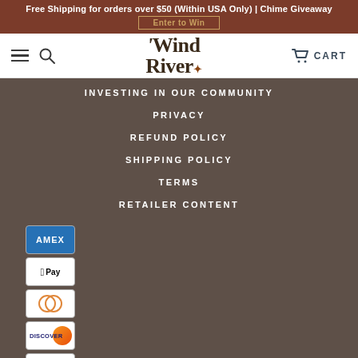Free Shipping for orders over $50 (Within USA Only) | Chime Giveaway
Enter to Win
[Figure (logo): Wind River logo with hamburger menu, search icon, and cart]
INVESTING IN OUR COMMUNITY
PRIVACY
REFUND POLICY
SHIPPING POLICY
TERMS
RETAILER CONTENT
[Figure (other): Payment method icons: American Express, Apple Pay, Diners Club, Discover, JCB]